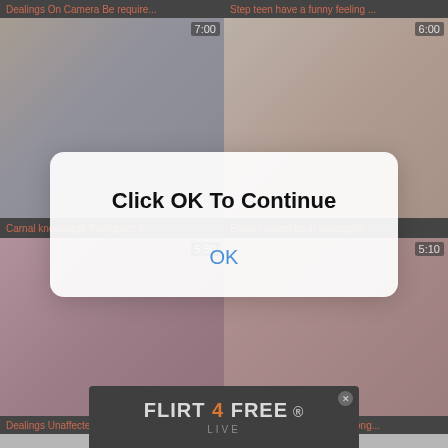Dealings On Camera Be require...
Step teen have a funny feeling ...
[Figure (screenshot): Video thumbnail showing people in a gym setting, duration 7:00]
[Figure (screenshot): Video thumbnail showing adult content, duration 6:00]
Carnal knowledge Participant F...
Erotic content adult susceptibl...
[Figure (screenshot): Video thumbnail adult content, duration 5:50]
[Figure (screenshot): Video thumbnail adult content, duration 5:10]
Dealings Unaffected by Tape Wit...
Dirty Be wary Doctor Jolly along...
[Figure (screenshot): Modal dialog with Click OK To Continue message and OK button]
[Figure (advertisement): FLIRT 4 FREE advertisement banner at the bottom]